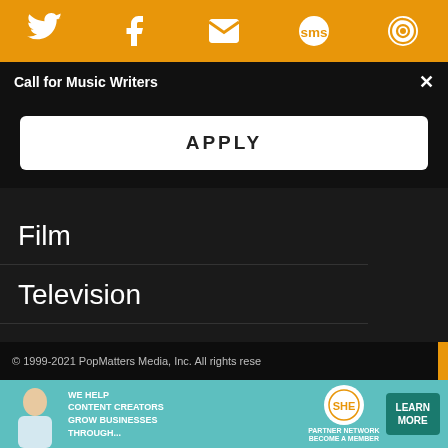[Figure (screenshot): Orange top navigation bar with social media icons: Twitter, Facebook, Email, SMS, and another icon, all in white on orange background]
Call for Music Writers
APPLY
Film
Television
Books
Culture
© 1999-2021 PopMatters Media, Inc. All rights rese...
[Figure (infographic): Bottom advertisement bar: SHE Partner Network - We help content creators grow businesses through... Learn More button]